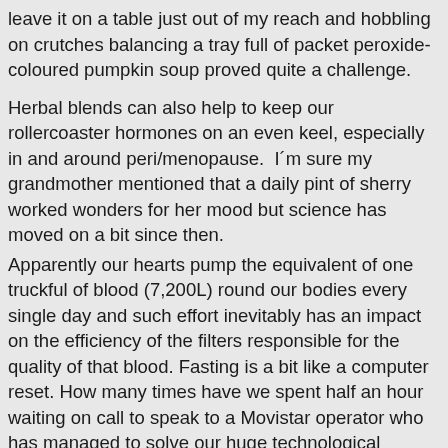leave it on a table just out of my reach and hobbling on crutches balancing a tray full of packet peroxide-coloured pumpkin soup proved quite a challenge.
Herbal blends can also help to keep our rollercoaster hormones on an even keel, especially in and around peri/menopause.  I´m sure my grandmother mentioned that a daily pint of sherry worked wonders for her mood but science has moved on a bit since then.
Apparently our hearts pump the equivalent of one truckful of blood (7,200L) round our bodies every single day and such effort inevitably has an impact on the efficiency of the filters responsible for the quality of that blood. Fasting is a bit like a computer reset. How many times have we spent half an hour waiting on call to speak to a Movistar operator who has managed to solve our huge technological disaster by asking us to merely switch off and turn on again our modem?? Our bodies are the same, we simply need to give them a chance to reset. Bio-individuality means that we each have an optimum number of hours in which to rest from food through intermittent fasting.